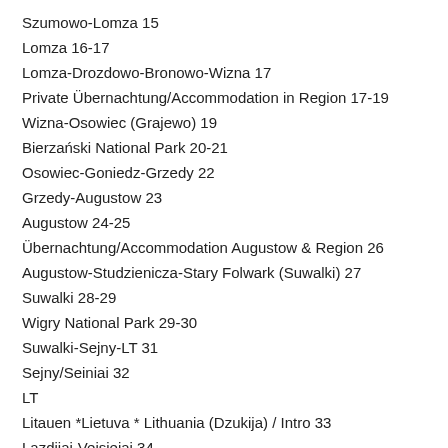Szumowo-Lomza 15
Lomza 16-17
Lomza-Drozdowo-Bronowo-Wizna 17
Private Übernachtung/Accommodation in Region 17-19
Wizna-Osowiec (Grajewo) 19
Bierzański National Park 20-21
Osowiec-Goniedz-Grzedy 22
Grzedy-Augustow 23
Augustow 24-25
Übernachtung/Accommodation Augustow & Region 26
Augustow-Studzienicza-Stary Folwark (Suwalki) 27
Suwalki 28-29
Wigry National Park 29-30
Suwalki-Sejny-LT 31
Sejny/Seiniai 32
LT
Litauen *Lietuva * Lithuania (Dzukija) / Intro 33
Lazdijai-Veisiejai 34